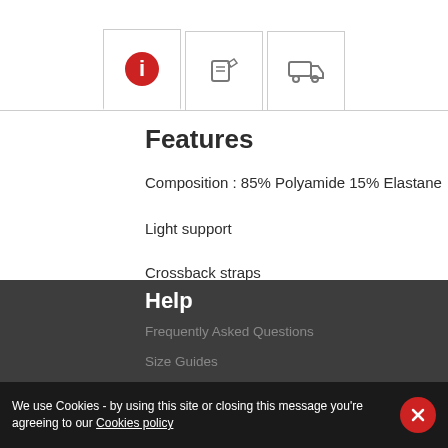[Figure (other): Navigation tab bar with three icon tabs: info (active, red circle with i), edit (pencil icon), and shipping (truck icon)]
Features
Composition : 85% Polyamide 15% Elastane
Light support
Crossback straps
Microfibre
Metal logo trim
Our model is 1.70m tall and wears size S.
Help
Frequently Asked Questions
Size Guides
Shipping
We use Cookies - by using this site or closing this message you're agreeing to our Cookies policy